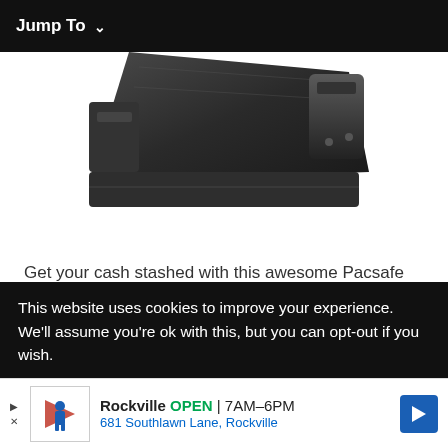Jump To ∨
[Figure (photo): Close-up photo of a dark charcoal/black Pacsafe money belt buckle and strap, seen from above at an angle, showing the metal hardware and fabric.]
Get your cash stashed with this awesome Pacsafe money belt. It will keep your valuables safe no matter where you go.
It looks exactly like a normal belt except for a SECRET interior pocket perfectly designed to hide a wad of
This website uses cookies to improve your experience. We'll assume you're ok with this, but you can opt-out if you wish.
[Figure (other): Advertisement for Rockville business: logo with a figure, text 'Rockville OPEN 7AM–6PM 681 Southlawn Lane, Rockville', blue diamond arrow icon on right.]